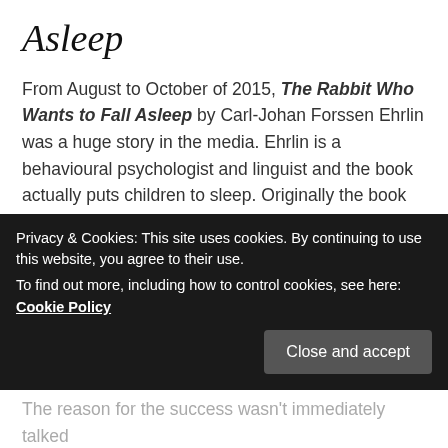Asleep
From August to October of 2015, The Rabbit Who Wants to Fall Asleep by Carl-Johan Forssen Ehrlin was a huge story in the media. Ehrlin is a behavioural psychologist and linguist and the book actually puts children to sleep. Originally the book was self-published, and according to The Telegraph, it was “the first self-published work to ever top the Amazon charts.”
On the surface the book seems like an almost overnight hit. According to Publisher’s Weekly, “At the close of last
The reason for the success wasn’t immediately talked
Privacy & Cookies: This site uses cookies. By continuing to use this website, you agree to their use.
To find out more, including how to control cookies, see here: Cookie Policy